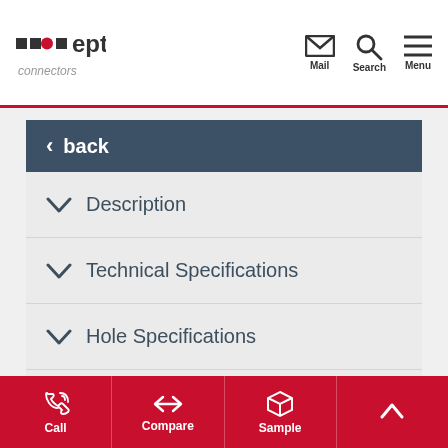ept connectors — Mail, Search, Menu
back
Description
Technical Specifications
Hole Specifications
Matching Products
Accessories
Modifications
Call   Compare   Sample   (up arrow)